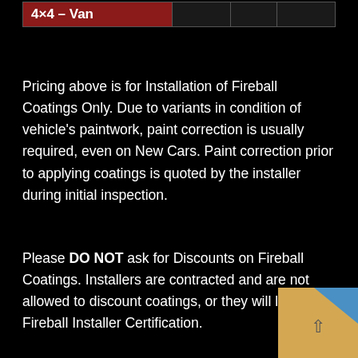| 4×4 – Van |  |  |  |
| --- | --- | --- | --- |
Pricing above is for Installation of Fireball Coatings Only. Due to variants in condition of vehicle's paintwork, paint correction is usually required, even on New Cars. Paint correction prior to applying coatings is quoted by the installer during initial inspection.
Please DO NOT ask for Discounts on Fireball Coatings. Installers are contracted and are not allowed to discount coatings, or they will lose their Fireball Installer Certification.
[Figure (screenshot): UI overlay in bottom-right corner showing a folder icon with a blue corner and an up-arrow, partially cropped]